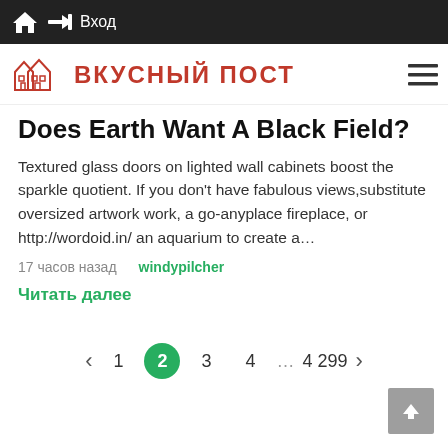Вход
[Figure (logo): ВКУСНЫЙ ПОСТ website logo with house illustration and Cyrillic text]
Does Earth Want A Black Field?
Textured glass doors on lighted wall cabinets boost the sparkle quotient. If you don't have fabulous views,substitute oversized artwork work, a go-anyplace fireplace, or http://wordoid.in/ an aquarium to create a…
17 часов назад    windypilcher
Читать далее
< 1 2 3 4 … 4 299 >